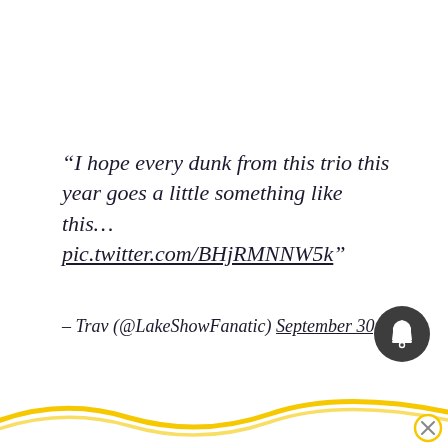“I hope every dunk from this trio this year goes a little something like this… pic.twitter.com/BHjRMNNW5k”
– Trav (@LakeShowFanatic) September 30, 2021
[Figure (illustration): Dark circular bell/notification icon button positioned bottom right, and a yellow wavy decorative line at the bottom of the page with a small circular close button.]